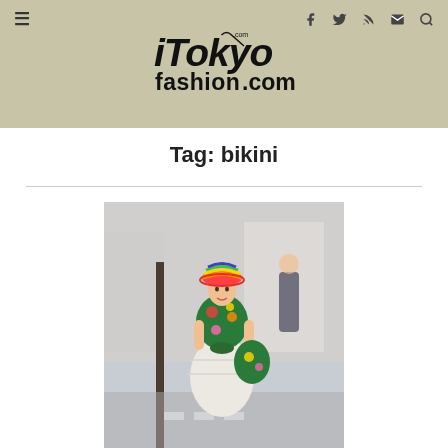TokyoFashion.com — navigation bar with hamburger menu and social icons
Tag: bikini
[Figure (photo): Street fashion photo of a young woman in Harajuku/Tokyo wearing a rainbow striped bucket hat, colorful floral bikini top tied at the waist, white tiered ruffle skirt, and carrying a large floral tote bag. Urban street background.]